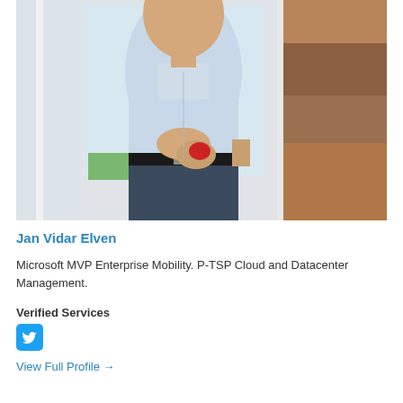[Figure (photo): A man in a light blue shirt and dark jeans holding a red device, standing near a window and wooden wall background.]
Jan Vidar Elven
Microsoft MVP Enterprise Mobility. P-TSP Cloud and Datacenter Management.
Verified Services
[Figure (logo): Twitter bird logo icon in blue square]
View Full Profile →